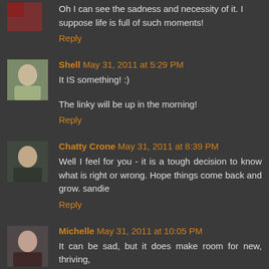Oh I can see the sadness and necessity of it. I suppose life is full of such moments!
Reply
Shell  May 31, 2011 at 5:29 PM
It IS something! :)
The linky will be up in the morning!
Reply
Chatty Crone  May 31, 2011 at 8:39 PM
Well I feel for you - it is a tough decision to know what is right or wrong. Hope things come back and grow. sandie
Reply
Michelle  May 31, 2011 at 10:05 PM
It can be sad, but it does make room for new, thriving,